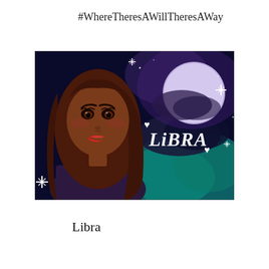#WhereTheresAWillTheresAWay
[Figure (illustration): Animated illustration of a girl with long brown hair and red lips on the left, with a fantasy night sky background on the right featuring a large moon, teal/green glowing clouds, sparkle stars, and the word 'LiBRA' in white cursive lettering with heart symbols.]
Libra